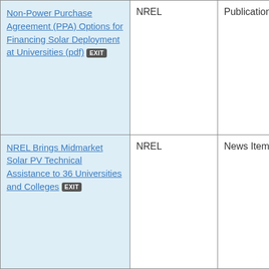| Non-Power Purchase Agreement (PPA) Options for Financing Solar Deployment at Universities (pdf) [EXIT] | NREL | Publication |
| NREL Brings Midmarket Solar PV Technical Assistance to 36 Universities and Colleges [EXIT] | NREL | News Item |